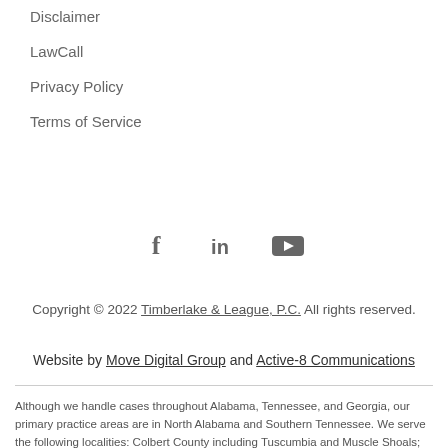Disclaimer
LawCall
Privacy Policy
Terms of Service
[Figure (illustration): Social media icons: Facebook (f), LinkedIn (in), YouTube (play button)]
Copyright © 2022 Timberlake & League, P.C. All rights reserved.
Website by Move Digital Group and Active-8 Communications
Although we handle cases throughout Alabama, Tennessee, and Georgia, our primary practice areas are in North Alabama and Southern Tennessee. We serve the following localities: Colbert County including Tuscumbia and Muscle Shoals; DeKalb